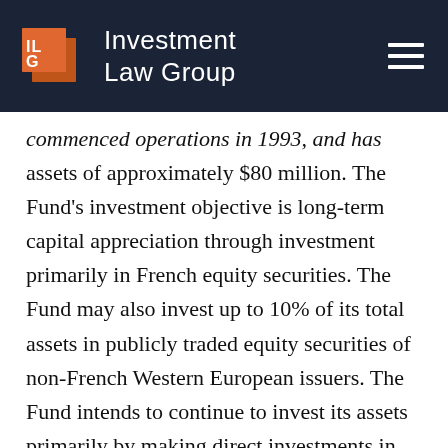Investment Law Group
commenced operations in 1993, and has assets of approximately $80 million. The Fund’s investment objective is long-term capital appreciation through investment primarily in French equity securities. The Fund may also invest up to 10% of its total assets in publicly traded equity securities of non-French Western European issuers. The Fund intends to continue to invest its assets primarily by making direct investments in the securities of French operating companies. The Fund’s investment strategy...